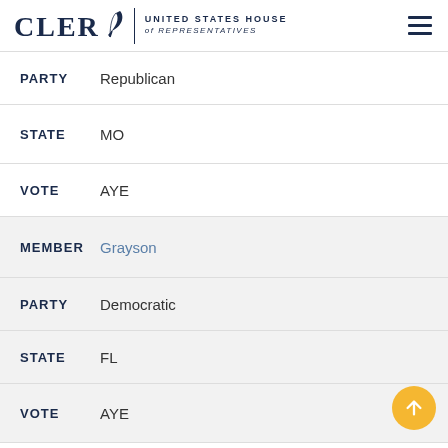CLERK United States House of Representatives
PARTY Republican
STATE MO
VOTE AYE
MEMBER Grayson
PARTY Democratic
STATE FL
VOTE AYE
MEMBER Green, Al